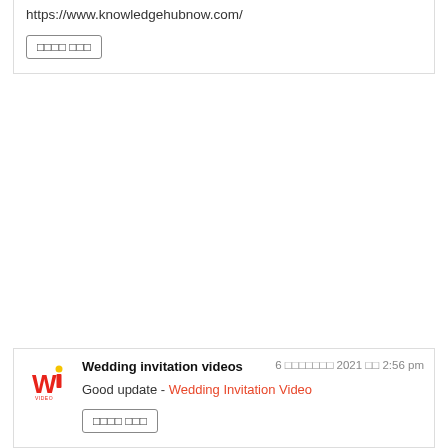https://www.knowledgehubnow.com/
□□□□ □□□
Wedding invitation videos
6 □□□□□□□ 2021 □□ 2:56 pm
Good update - Wedding Invitation Video
□□□□ □□□